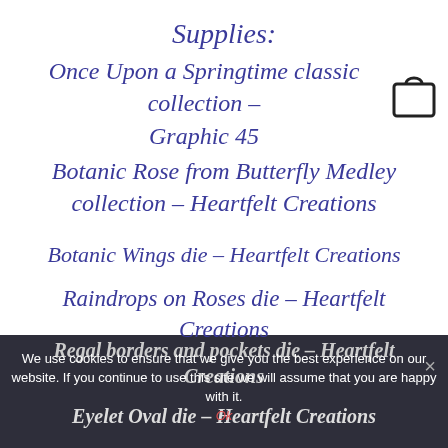Supplies:
Once Upon a Springtime classic collection – Graphic 45
Botanic Rose from Butterfly Medley collection – Heartfelt Creations
Botanic Wings die – Heartfelt Creations
Raindrops on Roses die – Heartfelt Creations
Regal borders and pockets die – Heartfelt Creations
We use cookies to ensure that we give you the best experience on our website. If you continue to use this site we will assume that you are happy with it.
Eyelet Oval die – Heartfelt Creations